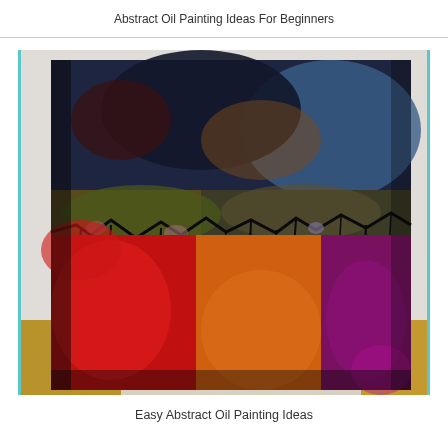Abstract Oil Painting Ideas For Beginners
[Figure (photo): Abstract oil painting leaning against a wall on a wooden floor. The painting features dramatic colors with dark navy/black at the top, transitioning through olive green and brown tones in the middle, with a cracked black network pattern separating the upper section from bold red on the left, orange in the center, and deep purple/magenta on the right in the lower half.]
Easy Abstract Oil Painting Ideas